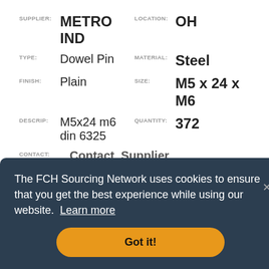SUPPLIER: METRO IND   LOCATION: OH
TYPE: Dowel Pin   MATERIAL: Steel
FINISH: Plain   SIZE: M5 x 24 x M6
DESCRIP: M5x24 m6 din 6325   QUANTITY: 372
CONTACT: Contact_Supplier
SUPPLIER: METRO IND   LOCATION: OH
The FCH Sourcing Network uses cookies to ensure that you get the best experience while using our website. Learn more
Got it!